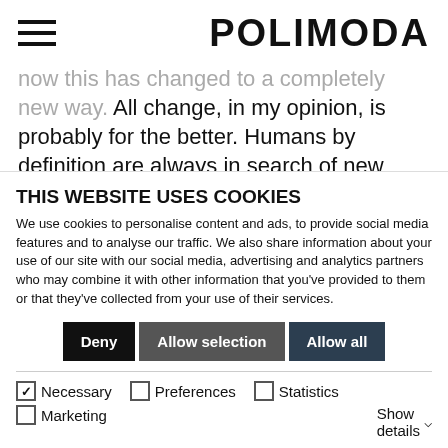POLIMODA
now this has changed to a completely new way. All change, in my opinion, is probably for the better. Humans by definition are always in search of new things anyway, so what we are looking for at the moment is better ways of functioning in fashion, perhaps less control. Part of the problem with the magazines, the
THIS WEBSITE USES COOKIES
We use cookies to personalise content and ads, to provide social media features and to analyse our traffic. We also share information about your use of our site with our social media, advertising and analytics partners who may combine it with other information that you've provided to them or that they've collected from your use of their services.
Deny | Allow selection | Allow all
Necessary  Preferences  Statistics  Marketing  Show details